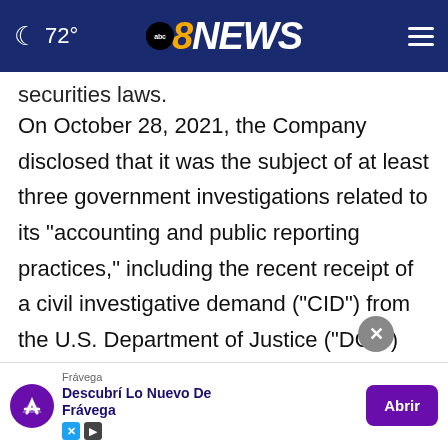72° | abc8NEWS
securities laws.
On October 28, 2021, the Company disclosed that it was the subject of at least three government investigations related to its "accounting and public reporting practices," including the recent receipt of a civil investigative demand ("CID") from the U.S. Department of Justice ("DOJ") requesting the Company produce documents in connection with t[he investigation]. On this n[ews,]